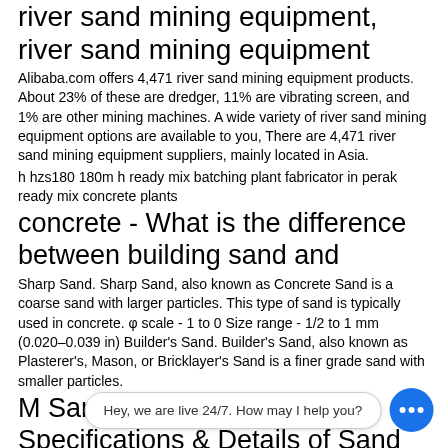river sand mining equipment, river sand mining equipment
Alibaba.com offers 4,471 river sand mining equipment products. About 23% of these are dredger, 11% are vibrating screen, and 1% are other mining machines. A wide variety of river sand mining equipment options are available to you, There are 4,471 river sand mining equipment suppliers, mainly located in Asia.
h hzs180 180m h ready mix batching plant fabricator in perak ready mix concrete plants
concrete - What is the difference between building sand and
Sharp Sand. Sharp Sand, also known as Concrete Sand is a coarse sand with larger particles. This type of sand is typically used in concrete. φ scale - 1 to 0 Size range - 1/2 to 1 mm (0.020–0.039 in) Builder's Sand. Builder's Sand, also known as Plasterer's, Mason, or Bricklayer's Sand is a finer grade sand with smaller particles.
M Sand Machine - View Specifications & Details of Sand Making
Deepa M sand machine are designed to produce high quality M sand from -40 mm size aggregates. DEEPA SAND MACHINE is